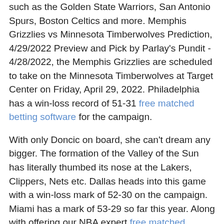such as the Golden State Warriors, San Antonio Spurs, Boston Celtics and more. Memphis Grizzlies vs Minnesota Timberwolves Prediction, 4/29/2022 Preview and Pick by Parlay’s Pundit - 4/28/2022, the Memphis Grizzlies are scheduled to take on the Minnesota Timberwolves at Target Center on Friday, April 29, 2022. Philadelphia has a win-loss record of 51-31 free matched betting software for the campaign.
With only Doncic on board, she can't dream any bigger. The formation of the Valley of the Sun has literally thumbed its nose at the Lakers, Clippers, Nets etc. Dallas heads into this game with a win-loss mark of 52-30 on the campaign. Miami has a mark of 53-29 so far this year. Along with offering our NBA expert free matched betting software picks, we provide free selections that are intended to help bettors with their handicapping legwork.
Expert NBA Picks - Free NBA Predictions Today - Odds